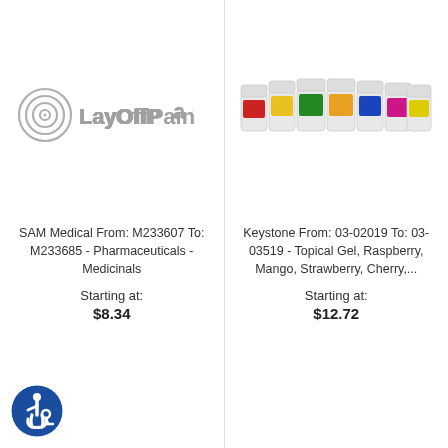[Figure (logo): LayOffPain company logo with concentric circles icon and text 'LayOffPain']
[Figure (photo): Row of colorful supplement/gel jars from Keystone, various flavors indicated by different colored labels]
SAM Medical From: M233607 To: M233685 - Pharmaceuticals - Medicinals
Starting at:
$8.34
Keystone From: 03-02019 To: 03-03519 - Topical Gel, Raspberry, Mango, Strawberry, Cherry,...
Starting at:
$12.72
[Figure (logo): Wheelchair accessibility icon — blue circle with white wheelchair user symbol]